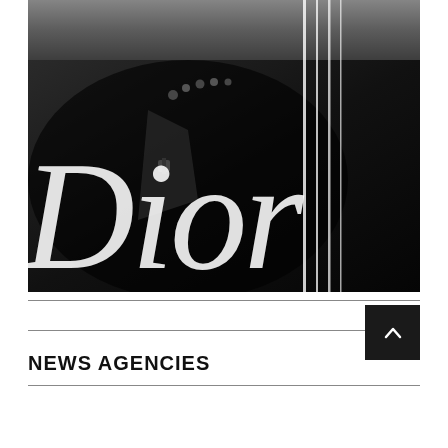[Figure (photo): Black and white fashion photograph of a person wearing a dark jacket with white stripes, with the Dior brand name overlaid in large serif italic white text]
NEWS AGENCIES